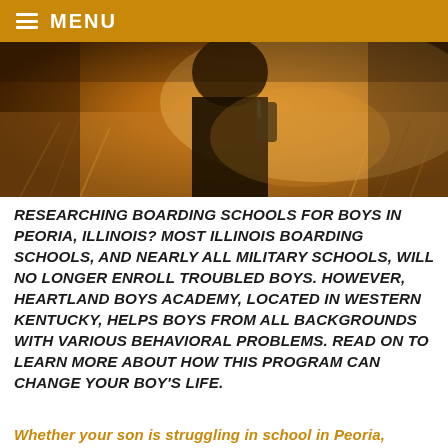MENU
[Figure (photo): A boy or person outdoors in a field with hay/wheat, wearing a dark jacket, warm golden light, photographed from close range.]
RESEARCHING BOARDING SCHOOLS FOR BOYS IN PEORIA, ILLINOIS? MOST ILLINOIS BOARDING SCHOOLS, AND NEARLY ALL MILITARY SCHOOLS, WILL NO LONGER ENROLL TROUBLED BOYS. HOWEVER, HEARTLAND BOYS ACADEMY, LOCATED IN WESTERN KENTUCKY, HELPS BOYS FROM ALL BACKGROUNDS WITH VARIOUS BEHAVIORAL PROBLEMS. READ ON TO LEARN MORE ABOUT HOW THIS PROGRAM CAN CHANGE YOUR BOY'S LIFE.
Whether your son is struggling in school in Peoria, Illinois